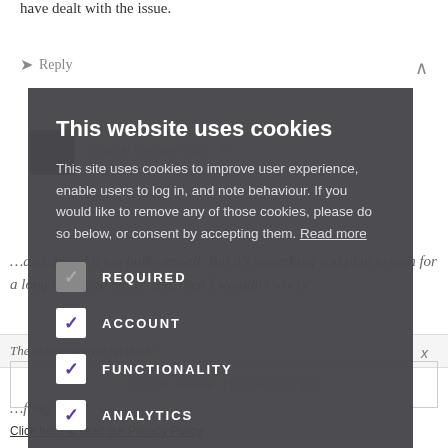have dealt with the issue.
Reply
This website uses cookies
This site uses cookies to improve user experience, enable users to log in, and note behaviour. If you would like to remove any of those cookies, please do so below, or consent by accepting them. Read more
REQUIRED
ACCOUNT
FUNCTIONALITY
ANALYTICS
ACCEPT ALL
DECLINE ALL
Click here to read our Privacy Policy